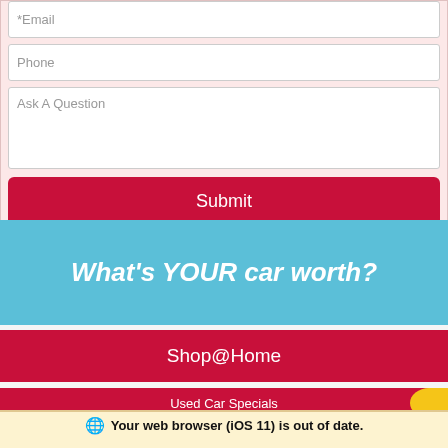*Email
Phone
Ask A Question
Submit
[Figure (infographic): Blue banner with bold italic white text: What's YOUR car worth?]
Shop@Home
Used Car Specials
Your web browser (iOS 11) is out of date. Update your browser for more security, speed and the best experience on this site.
Update browser
Ignore